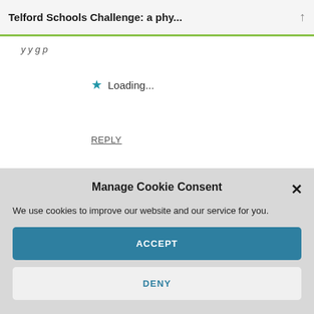Telford Schools Challenge: a phy...
Loading...
REPLY
Leave a Reply
Manage Cookie Consent
We use cookies to improve our website and our service for you.
ACCEPT
DENY